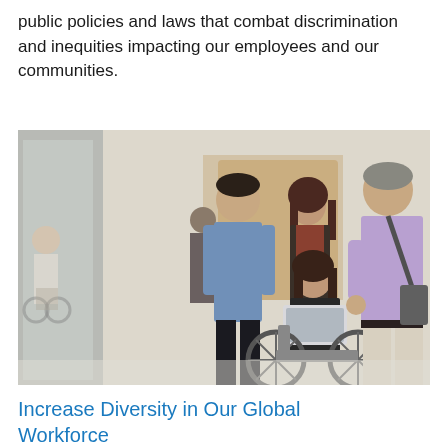public policies and laws that combat discrimination and inequities impacting our employees and our communities.
[Figure (photo): A group of diverse colleagues walking together in a modern office hallway. A woman in a wheelchair holds a laptop and looks up, smiling, at an older man in a purple shirt carrying a bag and gesturing. A man in a blue shirt walks alongside them. Another person is visible in the background. A reflection of a woman in a wheelchair is visible in glass on the left.]
Increase Diversity in Our Global Workforce